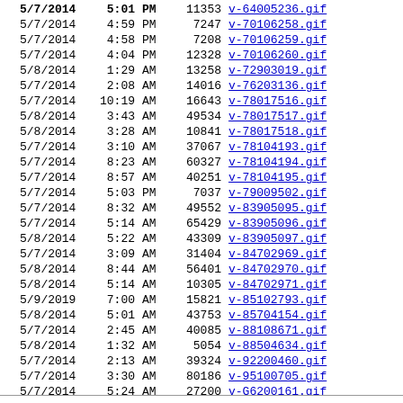| Date | Time | AM/PM | Size | Filename |
| --- | --- | --- | --- | --- |
| 5/7/2014 | 5:01 | PM | 11353 | v-64005236.gif |
| 5/7/2014 | 4:59 | PM | 7247 | v-70106258.gif |
| 5/7/2014 | 4:58 | PM | 7208 | v-70106259.gif |
| 5/7/2014 | 4:04 | PM | 12328 | v-70106260.gif |
| 5/8/2014 | 1:29 | AM | 13258 | v-72903019.gif |
| 5/7/2014 | 2:08 | AM | 14016 | v-76203136.gif |
| 5/7/2014 | 10:19 | AM | 16643 | v-78017516.gif |
| 5/8/2014 | 3:43 | AM | 49534 | v-78017517.gif |
| 5/8/2014 | 3:28 | AM | 10841 | v-78017518.gif |
| 5/7/2014 | 3:10 | AM | 37067 | v-78104193.gif |
| 5/7/2014 | 8:23 | AM | 60327 | v-78104194.gif |
| 5/7/2014 | 8:57 | AM | 40251 | v-78104195.gif |
| 5/7/2014 | 5:03 | PM | 7037 | v-79009502.gif |
| 5/7/2014 | 8:32 | AM | 49552 | v-83905095.gif |
| 5/7/2014 | 5:14 | AM | 65429 | v-83905096.gif |
| 5/8/2014 | 5:22 | AM | 43309 | v-83905097.gif |
| 5/7/2014 | 3:09 | AM | 31404 | v-84702969.gif |
| 5/8/2014 | 8:44 | AM | 56401 | v-84702970.gif |
| 5/8/2014 | 5:14 | AM | 10305 | v-84702971.gif |
| 5/9/2019 | 7:00 | AM | 15821 | v-85102793.gif |
| 5/8/2014 | 5:01 | AM | 43753 | v-85704154.gif |
| 5/7/2014 | 2:45 | AM | 40085 | v-88108671.gif |
| 5/8/2014 | 1:32 | AM | 5054 | v-88504634.gif |
| 5/7/2014 | 2:13 | AM | 39324 | v-92200460.gif |
| 5/7/2014 | 3:30 | AM | 80186 | v-95100705.gif |
| 5/7/2014 | 5:24 | AM | 27200 | v-G6200161.gif |
| 5/6/2014 | 3:26 | PM | 2497 | y-25805503.gif |
| 5/6/2014 | 3:30 | PM | 3616 | y-25805504.gif |